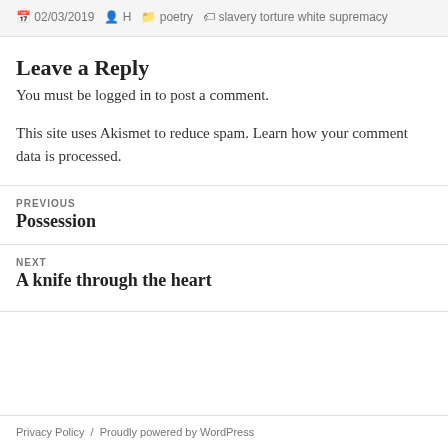02/03/2019  H  poetry  slavery torture white supremacy
Leave a Reply
You must be logged in to post a comment.
This site uses Akismet to reduce spam. Learn how your comment data is processed.
Previous
Possession
Next
A knife through the heart
Privacy Policy  /  Proudly powered by WordPress